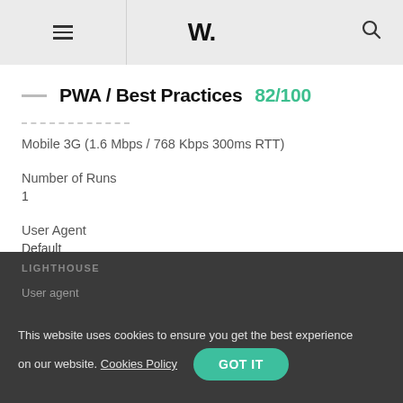W.
PWA / Best Practices 82/100
Mobile 3G (1.6 Mbps / 768 Kbps 300ms RTT)
Number of Runs
1
User Agent
Default
LIGHTHOUSE
User agent
Mozilla/5.0 (Macintosh; Intel Mac OS X 10_12_6)
This website uses cookies to ensure you get the best experience on our website. Cookies Policy  GOT IT